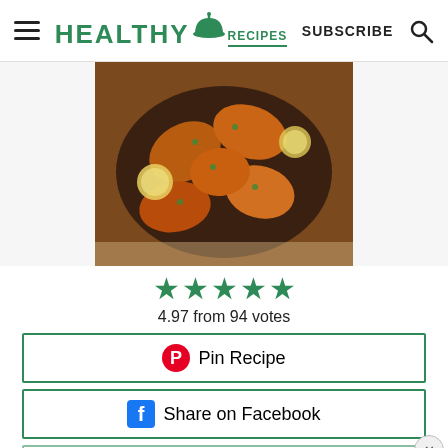HEALTHY RECIPES — SUBSCRIBE
[Figure (photo): Grilled or baked chicken drumsticks on a dark round plate, garnished with herbs and lemon slices.]
4.97 from 94 votes
Pin Recipe
Share on Facebook
Print Recipe